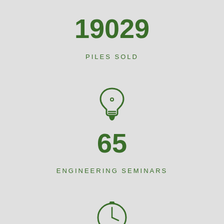19029
PILES SOLD
[Figure (infographic): Green lightbulb icon]
65
ENGINEERING SEMINARS
[Figure (infographic): Green clock/timer icon (partially visible at bottom)]